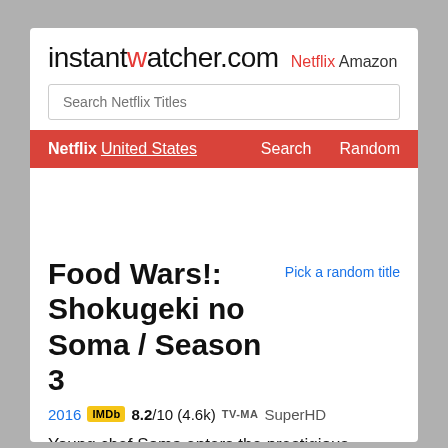instantwatcher.com  Netflix  Amazon
Search Netflix Titles
Netflix United States  Search  Random
Food Wars!: Shokugeki no Soma / Season 3
Pick a random title
2016  IMDb  8.2/10 (4.6k)  TV-MA  SuperHD
Young chef Soma enters the prestigious Totsuki Culinary Academy, where he must emerge victorious in over the top